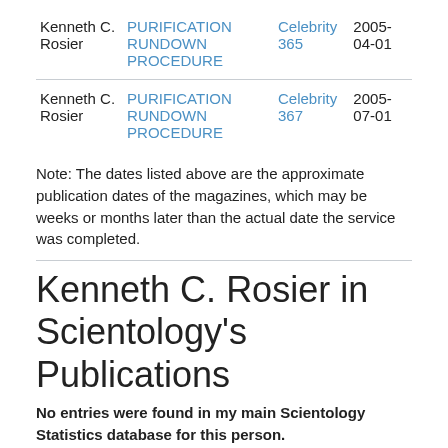| Name | Publication | Magazine | Date |
| --- | --- | --- | --- |
| Kenneth C. Rosier | PURIFICATION RUNDOWN PROCEDURE | Celebrity 365 | 2005-04-01 |
| Kenneth C. Rosier | PURIFICATION RUNDOWN PROCEDURE | Celebrity 367 | 2005-07-01 |
Note: The dates listed above are the approximate publication dates of the magazines, which may be weeks or months later than the actual date the service was completed.
Kenneth C. Rosier in Scientology's Publications
No entries were found in my main Scientology Statistics database for this person.
Kenneth C. Rosier and the Clear List